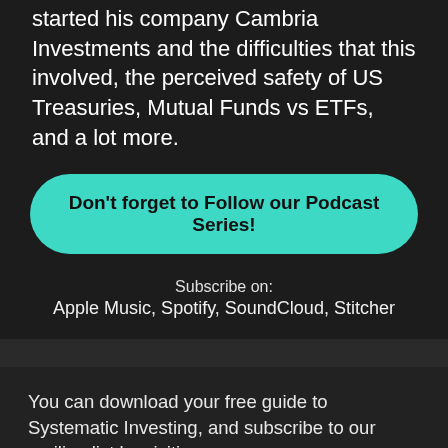started his company Cambria Investments and the difficulties that this involved, the perceived safety of US Treasuries, Mutual Funds vs ETFs, and a lot more.
Don't forget to Follow our Podcast Series!
Subscribe on:
Apple Music, Spotify, SoundCloud, Stitcher
You can download your free guide to Systematic Investing, and subscribe to our mailing list by visiting TopTradersUnplugged.com